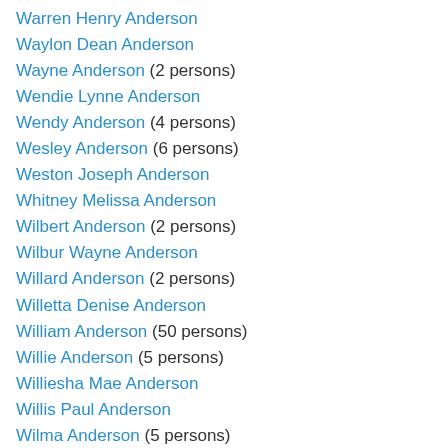Warren Henry Anderson
Waylon Dean Anderson
Wayne Anderson (2 persons)
Wendie Lynne Anderson
Wendy Anderson (4 persons)
Wesley Anderson (6 persons)
Weston Joseph Anderson
Whitney Melissa Anderson
Wilbert Anderson (2 persons)
Wilbur Wayne Anderson
Willard Anderson (2 persons)
Willetta Denise Anderson
William Anderson (50 persons)
Willie Anderson (5 persons)
Williesha Mae Anderson
Willis Paul Anderson
Wilma Anderson (5 persons)
Wilton Rea Anderson